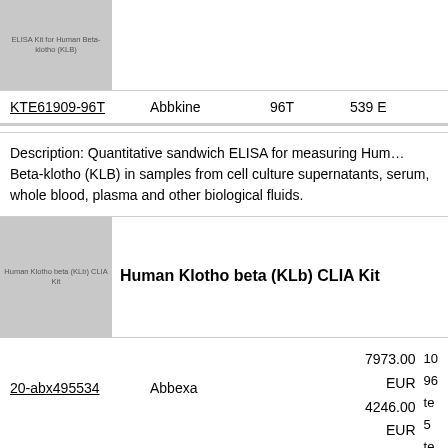[Figure (photo): Product image placeholder for ELISA kit - Human Beta-klotho (KLB)]
| Catalog ID | Supplier | Size | Price |
| --- | --- | --- | --- |
| KTE61909-96T | Abbkine | 96T | 539 E... |
Description: Quantitative sandwich ELISA for measuring Human Beta-klotho (KLB) in samples from cell culture supernatants, serum, whole blood, plasma and other biological fluids.
[Figure (photo): Product image placeholder for Human Klotho beta (KLb) CLIA Kit]
Human Klotho beta (KLb) CLIA Kit
| Catalog ID | Supplier | Price | Details |
| --- | --- | --- | --- |
| 20-abx495534 | Abbexa | 7973.00 EUR 4246.00 EUR 981.00 | 10... 96 te... 5... te... 96... |